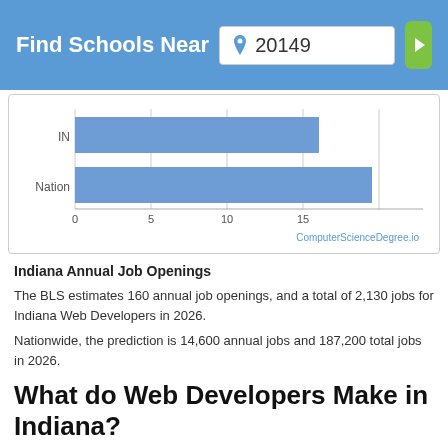Find Schools Near 20149
[Figure (bar-chart): IN vs Nation annual job openings]
Indiana Annual Job Openings
The BLS estimates 160 annual job openings, and a total of 2,130 jobs for Indiana Web Developers in 2026.
Nationwide, the prediction is 14,600 annual jobs and 187,200 total jobs in 2026.
What do Web Developers Make in Indiana?
In 2018 wages for Web Developers ranged from $31,330...